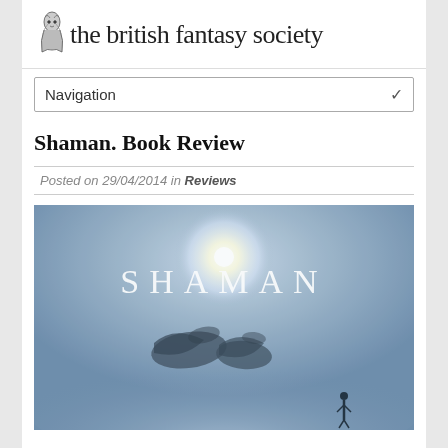the british fantasy society
Navigation
Shaman. Book Review
Posted on 29/04/2014 in Reviews
[Figure (photo): Book cover for 'Shaman' showing the word SHAMAN in large white serif letters at the top with a bright light/star burst, and below a misty blue-grey atmospheric scene with dark silhouetted shapes (possibly a bird or creature) and a small human figure at the bottom right.]